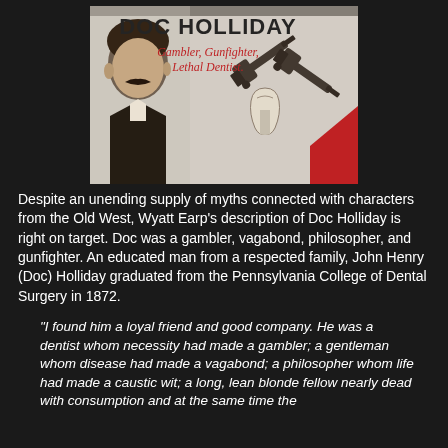[Figure (illustration): Promotional poster for Doc Holliday showing a black and white portrait photo of a man with a mustache in formal attire, crossed pistols with a tooth in the center, text reading 'DOC HOLLIDAY' in large bold letters and 'Gambler, Gunfighter, Lethal Dentist.' in red italic text. Red triangle in lower right corner.]
Despite an unending supply of myths connected with characters from the Old West, Wyatt Earp's description of Doc Holliday is right on target. Doc was a gambler, vagabond, philosopher, and gunfighter. An educated man from a respected family, John Henry (Doc) Holliday graduated from the Pennsylvania College of Dental Surgery in 1872.
“I found him a loyal friend and good company. He was a dentist whom necessity had made a gambler; a gentleman whom disease had made a vagabond; a philosopher whom life had made a caustic wit; a long, lean blonde fellow nearly dead with consumption and at the same time the